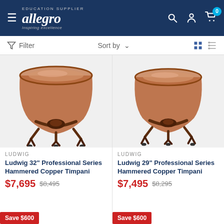Allegro - Education Supplier - Inspiring excellence
Filter | Sort by | Grid/List view
[Figure (photo): Ludwig 32 inch Professional Series Hammered Copper Timpani drum, front view showing copper bowl and frame with casters]
LUDWIG
Ludwig 32" Professional Series Hammered Copper Timpani
$7,695  $8,495
Save $600
[Figure (photo): Ludwig 29 inch Professional Series Hammered Copper Timpani drum, front view showing copper bowl and frame with casters]
LUDWIG
Ludwig 29" Professional Series Hammered Copper Timpani
$7,495  $8,295
Save $600